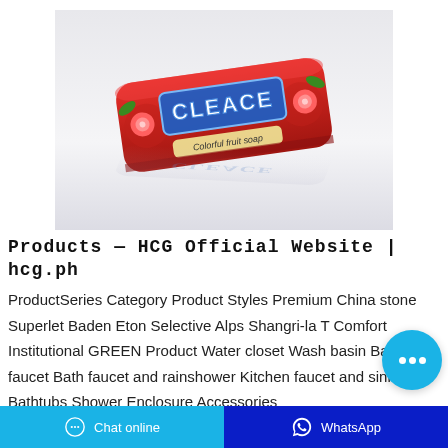[Figure (photo): A red packaged bar of Cleace Colorful Fruit Soap on a white/grey background with reflection below]
Products — HCG Official Website | hcg.ph
ProductSeries Category Product Styles Premium China stone Superlet Baden Eton Selective Alps Shangri-la T Comfort Institutional GREEN Product Water closet Wash basin Basin faucet Bath faucet and rainshower Kitchen faucet and sink Bathtubs Shower Enclosure Accessories
Chat online   WhatsApp